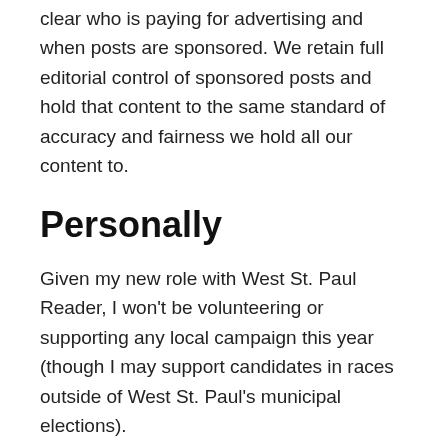clear who is paying for advertising and when posts are sponsored. We retain full editorial control of sponsored posts and hold that content to the same standard of accuracy and fairness we hold all our content to.
Personally
Given my new role with West St. Paul Reader, I won't be volunteering or supporting any local campaign this year (though I may support candidates in races outside of West St. Paul's municipal elections).
I'll point out that my wife did not sign up for a nonpartisan election year. She will volunteer for, donate to, and support whomever she likes. So